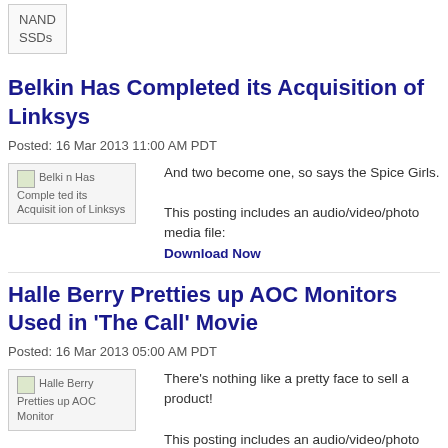[Figure (other): Thumbnail image placeholder box with text 'NAND SSDs']
Belkin Has Completed its Acquisition of Linksys
Posted: 16 Mar 2013 11:00 AM PDT
[Figure (photo): Thumbnail image for 'Belkin Has Completed its Acquisition of Linksys']
And two become one, so says the Spice Girls.

This posting includes an audio/video/photo media file: Download Now
Halle Berry Pretties up AOC Monitors Used in 'The Call' Movie
Posted: 16 Mar 2013 05:00 AM PDT
[Figure (photo): Thumbnail image for 'Halle Berry Pretties up AOC Monitors Used in The Call Movie']
There's nothing like a pretty face to sell a product!

This posting includes an audio/video/photo media file: Download Now